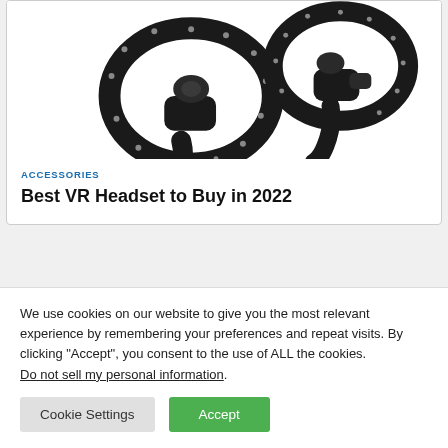[Figure (photo): VR controllers - two black Oculus/Quest touch controllers showing ring structures and grip handles against white background]
ACCESSORIES
Best VR Headset to Buy in 2022
We use cookies on our website to give you the most relevant experience by remembering your preferences and repeat visits. By clicking “Accept”, you consent to the use of ALL the cookies. Do not sell my personal information.